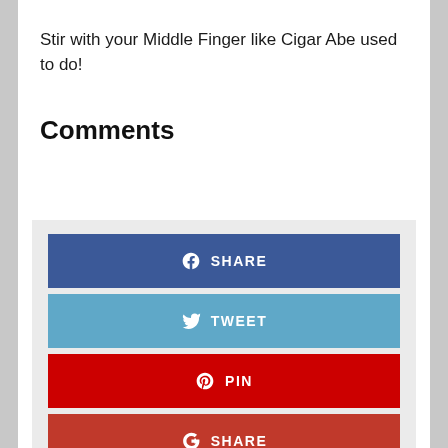Stir with your Middle Finger like Cigar Abe used to do!
Comments
[Figure (infographic): Social sharing buttons: Facebook SHARE (blue), Twitter TWEET (light blue), Pinterest PIN (red), Google+ SHARE (dark red)]